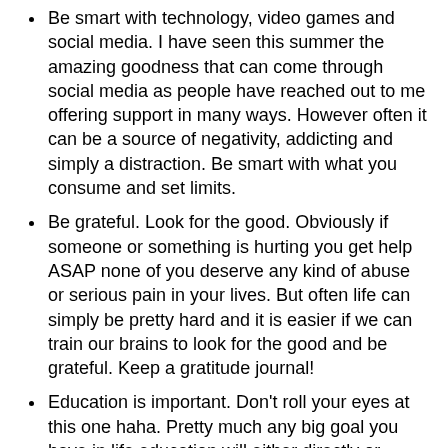Be smart with technology, video games and social media. I have seen this summer the amazing goodness that can come through social media as people have reached out to me offering support in many ways. However often it can be a source of negativity, addicting and simply a distraction. Be smart with what you consume and set limits.
Be grateful. Look for the good. Obviously if someone or something is hurting you get help ASAP none of you deserve any kind of abuse or serious pain in your lives. But often life can simply be pretty hard and it is easier if we can train our brains to look for the good and be grateful. Keep a gratitude journal!
Education is important. Don't roll your eyes at this one haha. Pretty much any big goal you have in life education will either directly or indirectly help you with that goal. Generally more education = more $, more job options, less poverty, less addictions, less abuse, greater joy
Get involved. I don't care how or where. School stuff, clubs, sports, in your neighborhood, teams, service,